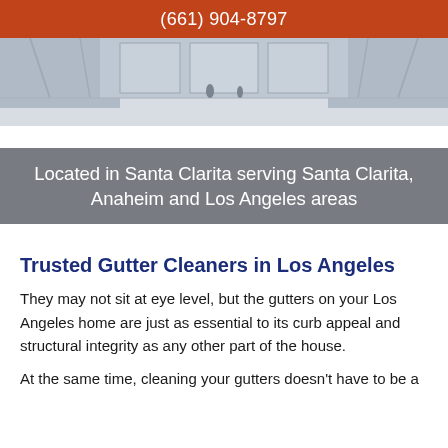(661) 904-8797
[Figure (photo): Interior of a large industrial warehouse or hangar with light grey walls, high ceiling, and reflective floor, rendered in a blue-grey tone.]
Located in Santa Clarita serving Santa Clarita, Anaheim and Los Angeles areas
Trusted Gutter Cleaners in Los Angeles
They may not sit at eye level, but the gutters on your Los Angeles home are just as essential to its curb appeal and structural integrity as any other part of the house.
At the same time, cleaning your gutters doesn't have to be a...